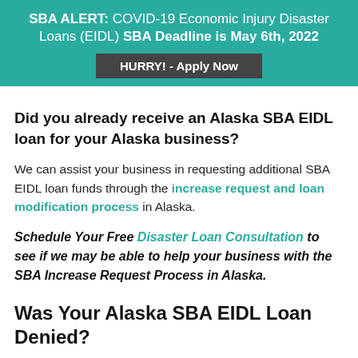SBA ALERT: COVID-19 Economic Injury Disaster Loans (EIDL) SBA Deadline is May 6th, 2022
HURRY! - Apply Now
Did you already receive an Alaska SBA EIDL loan for your Alaska business?
We can assist your business in requesting additional SBA EIDL loan funds through the increase request and loan modification process in Alaska.
Schedule Your Free Disaster Loan Consultation to see if we may be able to help your business with the SBA Increase Request Process in Alaska.
Was Your Alaska SBA EIDL Loan Denied?